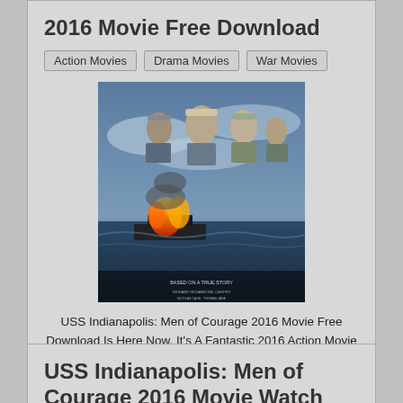2016 Movie Free Download
Action Movies
Drama Movies
War Movies
[Figure (photo): Movie poster for USS Indianapolis: Men of Courage 2016, showing naval officers and soldiers with a burning ship and stormy sea in the background.]
USS Indianapolis: Men of Courage 2016 Movie Free Download Is Here Now. It's A Fantastic 2016 Action Movie Full HD Online Directed By Mario Van Peebles. It's Also Drama With War Film Like To Watch Online In The Hollywood. So You Can Easily Watch And Download This Dramatically War Full Hollywood Film Right Here.
Read Post
USS Indianapolis: Men of Courage 2016 Movie Watch Online Free